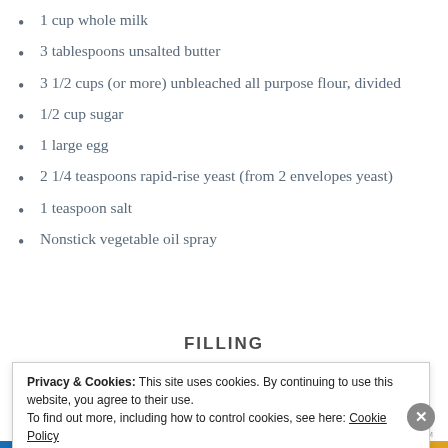1 cup whole milk
3 tablespoons unsalted butter
3 1/2 cups (or more) unbleached all purpose flour, divided
1/2 cup sugar
1 large egg
2 1/4 teaspoons rapid-rise yeast (from 2 envelopes yeast)
1 teaspoon salt
Nonstick vegetable oil spray
FILLING
Privacy & Cookies: This site uses cookies. By continuing to use this website, you agree to their use.
To find out more, including how to control cookies, see here: Cookie Policy
Close and accept